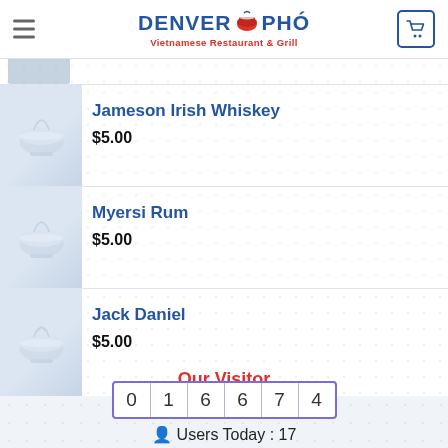Denver Pho - Vietnamese Restaurant & Grill
Jameson Irish Whiskey $5.00
Myersi Rum $5.00
Jack Daniel $5.00
Our Visitor
016674 Users Today : 17